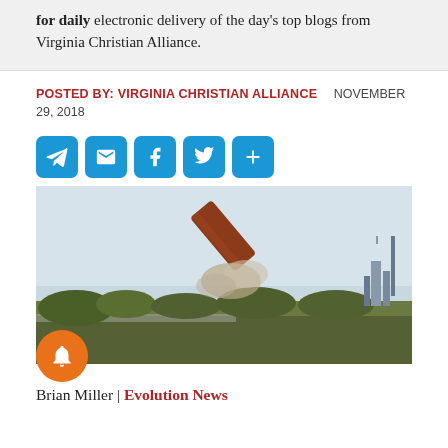for daily electronic delivery of the day's top blogs from Virginia Christian Alliance.
POSTED BY: VIRGINIA CHRISTIAN ALLIANCE   NOVEMBER 29, 2018
[Figure (other): Five social sharing icons: Telegram, Email, Facebook, Twitter, and a plus/share button, all in blue rounded square buttons]
[Figure (photo): Outdoor photo showing a large structure (possibly a rocket or tower) falling and collapsing with dust/smoke cloud, over flat green landscape with distant buildings on the right horizon and hazy sky.]
Brian Miller | Evolution News